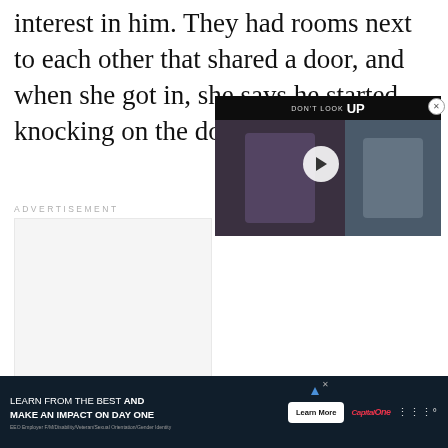interest in him. They had rooms next to each other that shared a door, and when she got in, she says he started knocking on the door.
[Figure (screenshot): Video overlay showing two people split screen with play button, title bar reading 'Don't Look UP', on dark background with close button]
ADVERTISEMENT
[Figure (screenshot): Bottom advertisement banner: 'LEARN FROM THE BEST AND MAKE AN IMPACT ON DAY ONE' with Learn More button, Capital One logo, and EEO disclaimer text]